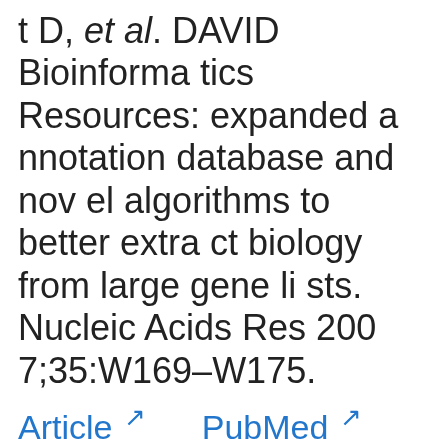t D, et al. DAVID Bioinformatics Resources: expanded annotation database and novel algorithms to better extract biology from large gene lists. Nucleic Acids Res 2007;35:W169–W175.
Article  PubMed  PMC
29. Diekmann Y, Seixas E, Gouw M, Tavares-Cadete F, Seabra MC, Pereira-Leal